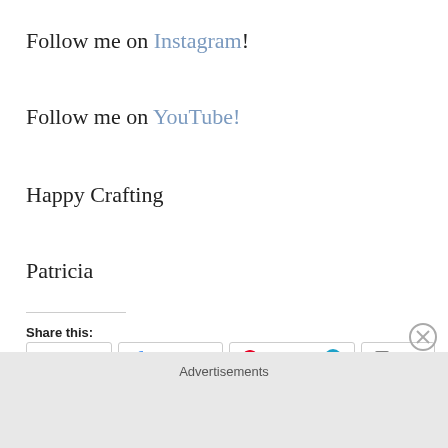Follow me on Instagram!
Follow me on YouTube!
Happy Crafting
Patricia
Share this:
Twitter Facebook Pinterest 1 Print Email
Advertisements